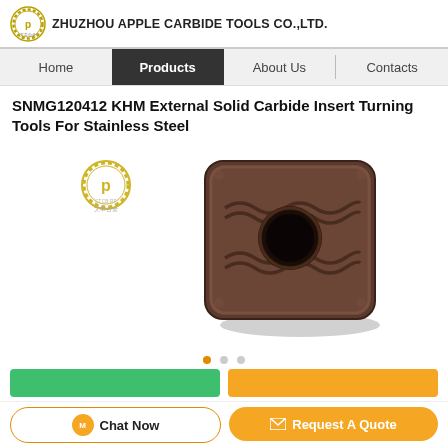ZHUZHOU APPLE CARBIDE TOOLS CO.,LTD.
Home | Products | About Us | Contacts
SNMG120412 KHM External Solid Carbide Insert Turning Tools For Stainless Steel
[Figure (photo): Carbide insert turning tool SNMG120412 KHM — square shape with rounded corners, central hole, wavy chip-breaker grooves on top face, dark brown/bronze PVD coating. Small Apple Carbide Tools logo watermark in upper-left of image area.]
Chat Now
Request A Quote